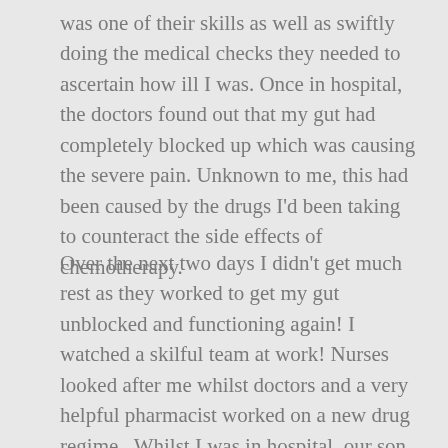was one of their skills as well as swiftly doing the medical checks they needed to ascertain how ill I was. Once in hospital, the doctors found out that my gut had completely blocked up which was causing the severe pain. Unknown to me, this had been caused by the drugs I'd been taking to counteract the side effects of chemotherapy.
Over the next two days I didn't get much rest as they worked to get my gut unblocked and functioning again! I watched a skilful team at work! Nurses looked after me whilst doctors and a very helpful pharmacist worked on a new drug regime. Whilst I was in hospital, our son Sam and his wife Sarah, arrived from the USA with our new baby granddaughter. The trip had been planned